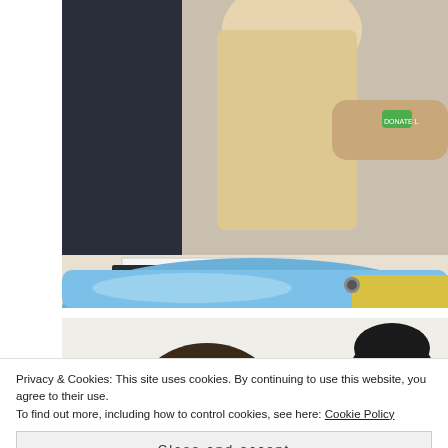[Figure (photo): Adults working together at a table on a craft or science activity; one person wearing a green wristband with text 'DONATE L...'; blue tray in foreground; hands assembling something on paper/notebooks.]
[Figure (photo): Students or young people in a classroom or workshop setting; two people visible in foreground, one with dark hair facing away, another woman with dark hair facing slightly right.]
Privacy & Cookies: This site uses cookies. By continuing to use this website, you agree to their use.
To find out more, including how to control cookies, see here: Cookie Policy
Close and accept